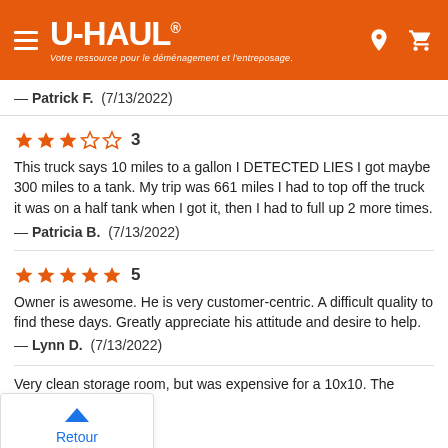[Figure (logo): U-HAUL orange header with hamburger menu, U-HAUL logo and tagline in French, location pin and cart icons]
— Patrick F.  (7/13/2022)
★★★☆☆ 3
This truck says 10 miles to a gallon I DETECTED LIES I got maybe 300 miles to a tank. My trip was 661 miles I had to top off the truck it was on a half tank when I got it, then I had to full up 2 more times.
— Patricia B.  (7/13/2022)
★★★★★ 5
Owner is awesome. He is very customer-centric. A difficult quality to find these days. Greatly appreciate his attitude and desire to help.
— Lynn D.  (7/13/2022)
Retour
Haut de la page
Very clean storage room, but was expensive for a 10x10. The